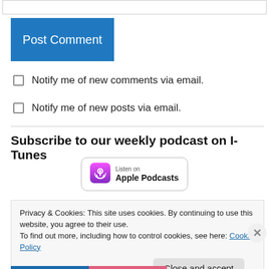Post Comment
Notify me of new comments via email.
Notify me of new posts via email.
Subscribe to our weekly podcast on I-Tunes
[Figure (logo): Listen on Apple Podcasts badge with purple podcast icon]
Privacy & Cookies: This site uses cookies. By continuing to use this website, you agree to their use.
To find out more, including how to control cookies, see here: Cookie Policy
Close and accept